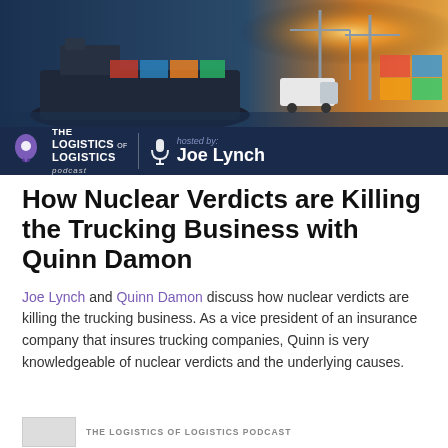[Figure (photo): Banner image for The Logistics of Logistics Podcast hosted by Joe Lynch. Background shows a port/shipping scene with a cargo ship, containers, and a truck. Dark blue bar at bottom contains the podcast logo with location pin icon and microphone icon with host name.]
How Nuclear Verdicts are Killing the Trucking Business with Quinn Damon
Joe Lynch and Quinn Damon discuss how nuclear verdicts are killing the trucking business. As a vice president of an insurance company that insures trucking companies, Quinn is very knowledgeable of nuclear verdicts and the underlying causes.
THE LOGISTICS OF LOGISTICS PODCAST